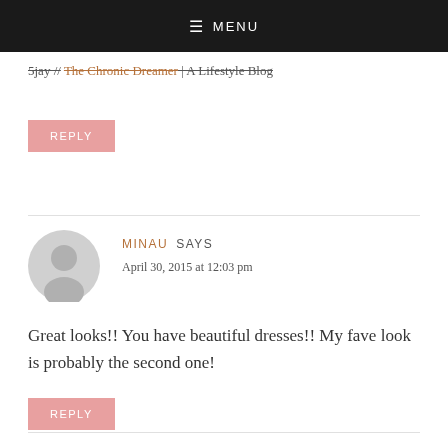MENU
5jay // The Chronic Dreamer | A Lifestyle Blog
REPLY
MINAU SAYS
April 30, 2015 at 12:03 pm
Great looks!! You have beautiful dresses!! My fave look is probably the second one!
REPLY